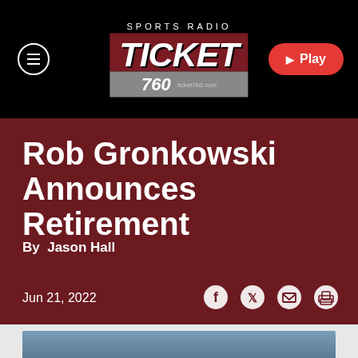Sports Radio TICKET 760 | ticket760.com
Rob Gronkowski Announces Retirement
By Jason Hall
Jun 21, 2022
[Figure (photo): Photo of Rob Gronkowski partially visible at bottom of page]